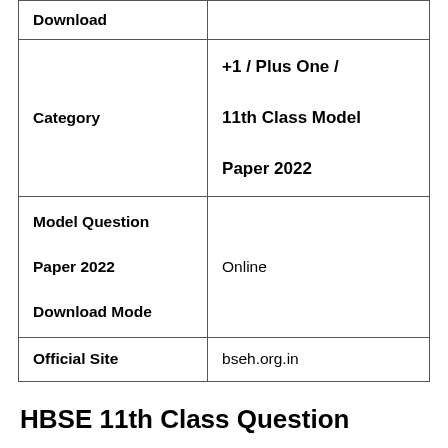| Download |  |
| Category | +1 / Plus One / 11th Class Model Paper 2022 |
| Model Question Paper 2022 Download Mode | Online |
| Official Site | bseh.org.in |
HBSE 11th Class Question